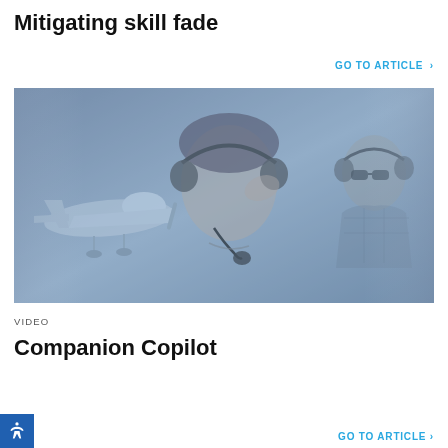Mitigating skill fade
GO TO ARTICLE >
[Figure (photo): Composite blue-tinted photo showing a woman wearing a pilot headset in the foreground, a small general aviation aircraft on the left side, and another pilot/person in the cockpit on the right side.]
VIDEO
Companion Copilot
GO TO ARTICLE >